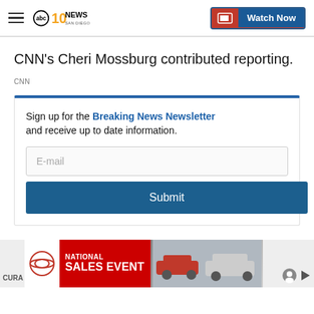10 News ABC San Diego | Watch Now
CNN's Cheri Mossburg contributed reporting.
CNN
Sign up for the Breaking News Newsletter and receive up to date information.
[Figure (screenshot): Email input field with placeholder text 'E-mail' and a Submit button below it, inside a newsletter signup box with blue top border]
[Figure (infographic): Toyota National Sales Event advertisement banner showing red background with Toyota logo and text 'NATIONAL SALES EVENT' with car images on the right]